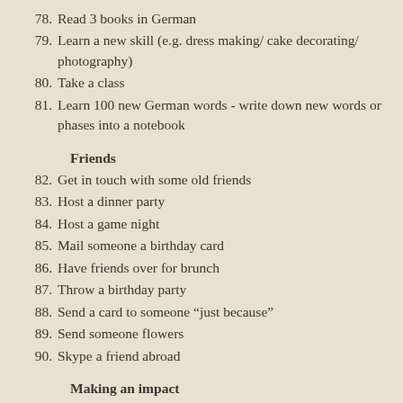78. Read 3 books in German
79. Learn a new skill (e.g. dress making/ cake decorating/ photography)
80. Take a class
81. Learn 100 new German words - write down new words or phases into a notebook
Friends
82. Get in touch with some old friends
83. Host a dinner party
84. Host a game night
85. Mail someone a birthday card
86. Have friends over for brunch
87. Throw a birthday party
88. Send a card to someone “just because”
89. Send someone flowers
90. Skype a friend abroad
Making an impact